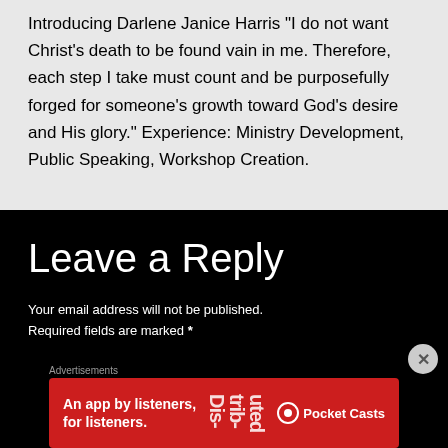Introducing Darlene Janice Harris "I do not want Christ's death to be found vain in me. Therefore, each step I take must count and be purposefully forged for someone's growth toward God's desire and His glory." Experience: Ministry Development, Public Speaking, Workshop Creation.
Leave a Reply
Your email address will not be published.
Required fields are marked *
[Figure (other): Advertisement banner for Pocket Casts app: red background with text 'An app by listeners, for listeners.' and Pocket Casts logo on the right, with a phone image showing 'Distributed' text.]